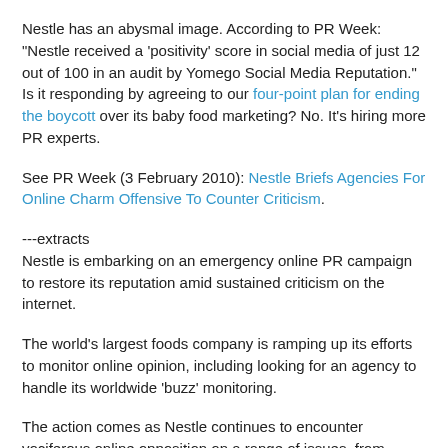Nestle has an abysmal image. According to PR Week: "Nestle received a 'positivity' score in social media of just 12 out of 100 in an audit by Yomego Social Media Reputation." Is it responding by agreeing to our four-point plan for ending the boycott over its baby food marketing? No. It's hiring more PR experts.
See PR Week (3 February 2010): Nestle Briefs Agencies For Online Charm Offensive To Counter Criticism.
---extracts
Nestle is embarking on an emergency online PR campaign to restore its reputation amid sustained criticism on the internet.
The world's largest foods company is ramping up its efforts to monitor online opinion, including looking for an agency to handle its worldwide 'buzz' monitoring.
The action comes as Nestle continues to encounter vociferous online opposition on a range of issues, from